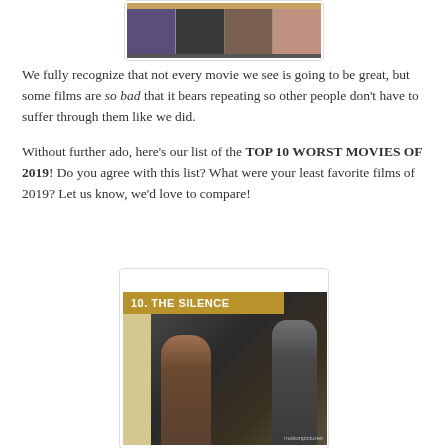[Figure (photo): Top partial image showing a movie collage strip with colored panels]
We fully recognize that not every movie we see is going to be great, but some films are so bad that it bears repeating so other people don't have to suffer through them like we did.
Without further ado, here's our list of the TOP 10 WORST MOVIES OF 2019! Do you agree with this list? What were your least favorite films of 2019? Let us know, we'd love to compare!
[Figure (photo): Movie still from 'The Silence' showing two figures standing in an urban setting, with title bar reading '10. THE SILENCE']